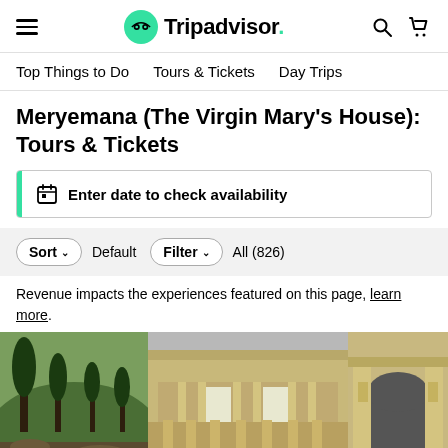Tripadvisor
Top Things to Do   Tours & Tickets   Day Trips
Meryemana (The Virgin Mary's House): Tours & Tickets
Enter date to check availability
Sort  Default   Filter  All (826)
Revenue impacts the experiences featured on this page, learn more.
[Figure (photo): Photo collage showing ancient ruins - left panel with trees and hillside, center panel showing Library of Celsus at Ephesus, right panel showing additional ancient columns/arches]